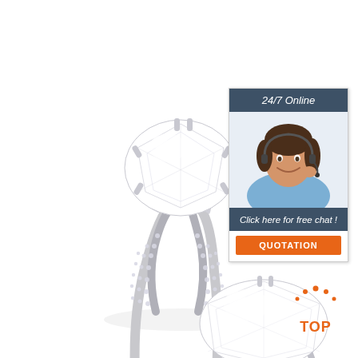[Figure (photo): Diamond engagement rings on white background — a tall pavé-set solitaire ring and a second ring with large oval diamond in foreground]
[Figure (infographic): Customer service chat widget with '24/7 Online' header, female agent with headset photo, 'Click here for free chat!' text, and orange 'QUOTATION' button]
[Figure (logo): Orange 'TOP' badge with decorative dots above the text, linking to top of page]